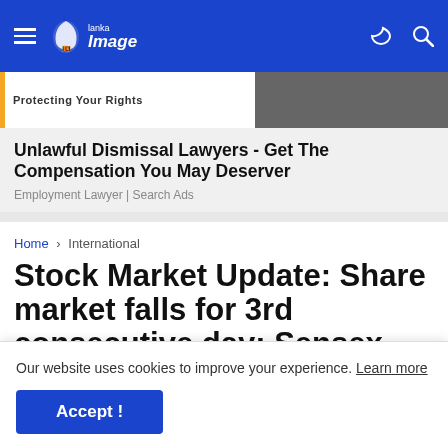Lanka Image — navigation bar
[Figure (screenshot): Advertisement banner with orange bar, 'Protecting Your Rights' text, and dark photo on right]
Unlawful Dismissal Lawyers - Get The Compensation You May Deserver
Employment Lawyer | Search Ads
Home > International
Stock Market Update: Share market falls for 3rd consecutive day: Sensex, Nifty decline
Our website uses cookies to improve your experience. Learn more
Accept !